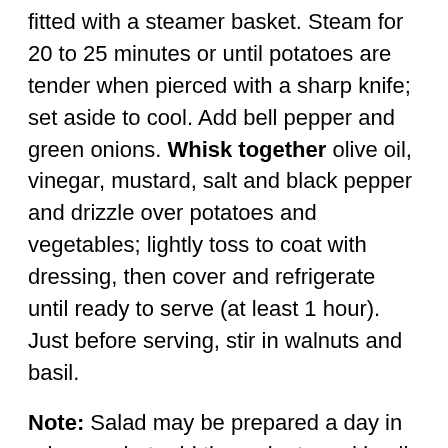fitted with a steamer basket. Steam for 20 to 25 minutes or until potatoes are tender when pierced with a sharp knife; set aside to cool. Add bell pepper and green onions. Whisk together olive oil, vinegar, mustard, salt and black pepper and drizzle over potatoes and vegetables; lightly toss to coat with dressing, then cover and refrigerate until ready to serve (at least 1 hour). Just before serving, stir in walnuts and basil.
Note: Salad may be prepared a day in advance, but add the walnuts and basil just before serving for the best flavor and texture.
Per serving: 239 calories, 4 grams protein, 17 grams fat (60% calories from fat), 1.9 grams saturated fat, 21 grams carbohydrate, no cholesterol, 110 milligrams sodium, 4 grams fiber.